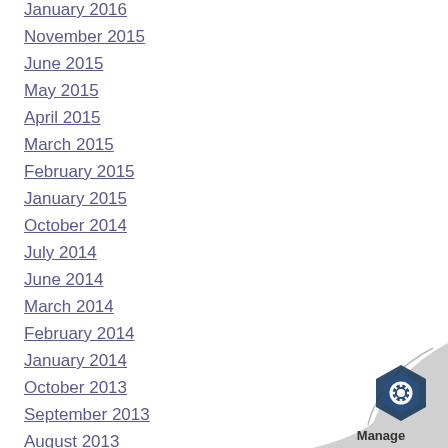January 2016
November 2015
June 2015
May 2015
April 2015
March 2015
February 2015
January 2015
October 2014
July 2014
June 2014
March 2014
February 2014
January 2014
October 2013
September 2013
August 2013
July 2013
[Figure (logo): Manage logo with page curl in bottom right corner]